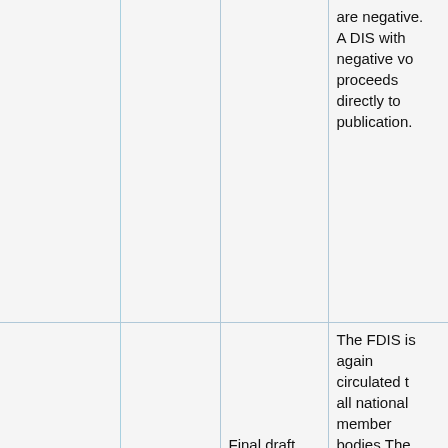|  |  |  | are negative. A DIS with negative votes proceeds directly to publication. |
|  | Approval stage | Final draft international standard (FDIS) | The FDIS is again circulated to all national member bodies.The FDIS is approved if two-thirds majority of votes cast the P-members are in favour, a |